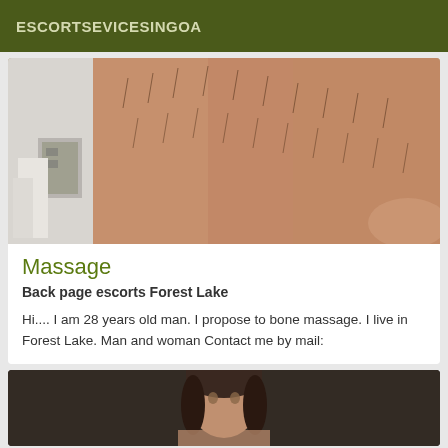ESCORTSEVICESINGOA
[Figure (photo): Close-up photo showing a person's arm/leg with skin and hair visible, against a light background with some objects visible on the left side]
Massage
Back page escorts Forest Lake
Hi.... I am 28 years old man. I propose to bone massage. I live in Forest Lake. Man and woman Contact me by mail:
[Figure (photo): Photo of a person with dark hair against a dark background, showing head/upper body]